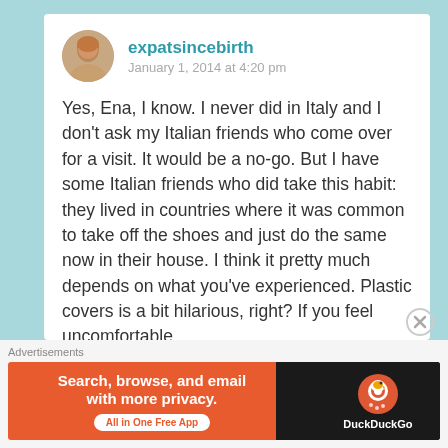expatsincebirth
January 1, 2014 at 4:20 pm
Yes, Ena, I know. I never did in Italy and I don't ask my Italian friends who come over for a visit. It would be a no-go. But I have some Italian friends who did take this habit: they lived in countries where it was common to take off the shoes and just do the same now in their house. I think it pretty much depends on what you've experienced. Plastic covers is a bit hilarious, right? If you feel uncomfortable
Advertisements
[Figure (screenshot): DuckDuckGo advertisement banner: orange background on left with text 'Search, browse, and email with more privacy. All in One Free App' and dark background on right with DuckDuckGo logo and text 'DuckDuckGo']